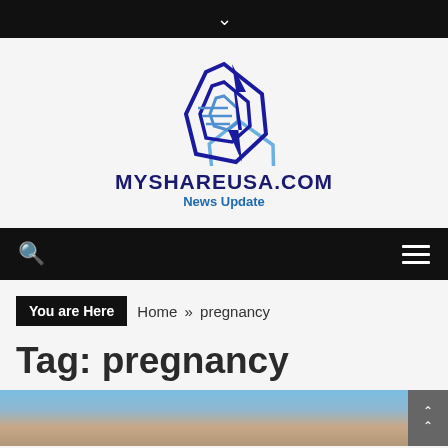[Figure (logo): MyShareUSA.com logo with overlapping blue geometric shapes and text MYSHAREUSA.COM News Update]
MYSHAREUSA.COM News Update
You are Here  Home » pregnancy
Tag: pregnancy
[Figure (photo): Partial photo visible at bottom of page showing a blurred person]